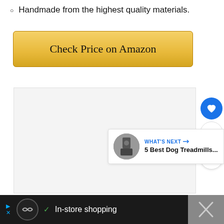Handmade from the highest quality materials.
[Figure (screenshot): Yellow gradient 'Check Price on Amazon' button]
[Figure (screenshot): Social sharing UI: heart/like button, count badge showing 1, share button]
[Figure (screenshot): What's Next panel with dog treadmill thumbnail image and text '5 Best Dog Treadmills...']
[Figure (screenshot): Bottom ad bar with infinity icon, checkmark, 'In-store shopping' text, navigation diamond icon, and dark right panel with X mark]